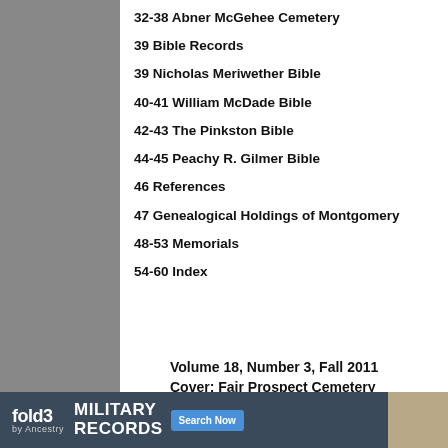32-38 Abner McGehee Cemetery
39 Bible Records
39 Nicholas Meriwether Bible
40-41 William McDade Bible
42-43 The Pinkston Bible
44-45 Peachy R. Gilmer Bible
46 References
47 Genealogical Holdings of Montgomery
48-53 Memorials
54-60 Index
Volume 18, Number 3, Fall 2011
Cover: Fair Prospect Cemetery